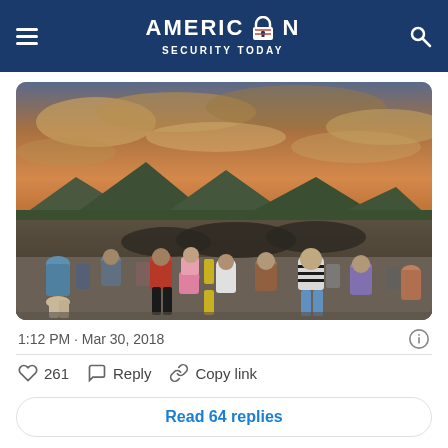AMERICAN SECURITY TODAY
[Figure (photo): A large group of migrants walking along a road at dusk/dawn with a dramatic orange and cloudy sky, mountains and trees in the background. People of various ages and clothing are walking in a crowd across a road with yellow lane markings.]
1:12 PM · Mar 30, 2018
261  Reply  Copy link
Read 64 replies